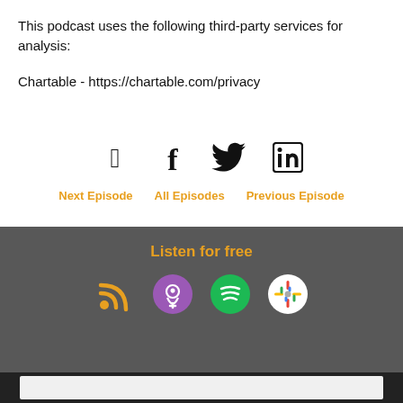This podcast uses the following third-party services for analysis:
Chartable - https://chartable.com/privacy
[Figure (other): Social media icons: Facebook, Twitter, LinkedIn]
Next Episode
All Episodes
Previous Episode
Listen for free
[Figure (other): Podcast platform icons: RSS feed (orange), Apple Podcasts (purple), Spotify (green), Google Podcasts (colorful dots on white circle)]